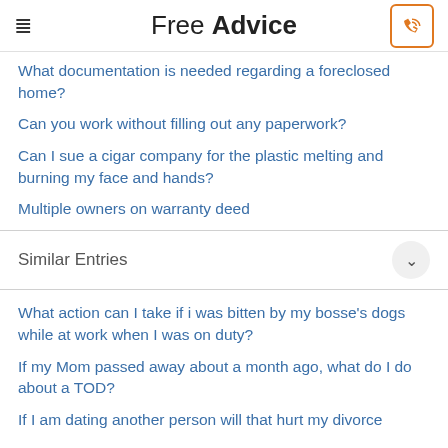Free Advice
What documentation is needed regarding a foreclosed home?
Can you work without filling out any paperwork?
Can I sue a cigar company for the plastic melting and burning my face and hands?
Multiple owners on warranty deed
Similar Entries
What action can I take if i was bitten by my bosse's dogs while at work when I was on duty?
If my Mom passed away about a month ago, what do I do about a TOD?
If I am dating another person will that hurt my divorce